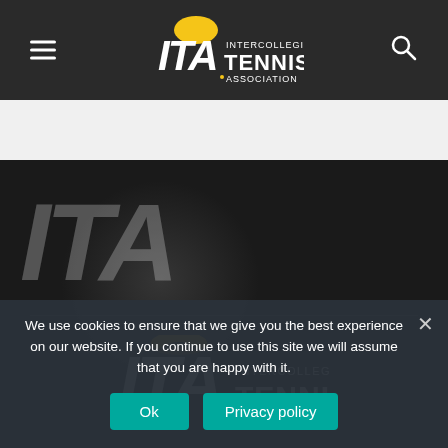[Figure (logo): ITA (Intercollegiate Tennis Association) logo in white navigation bar at top of page. Hamburger menu icon on left, search icon on right.]
[Figure (illustration): Dark hero section with a faint ITA logo watermark over a blurred tennis ball background, and a second ITA Intercollegiate Tennis logo centered below a horizontal dividing line.]
We use cookies to ensure that we give you the best experience on our website. If you continue to use this site we will assume that you are happy with it.
Ok
Privacy policy